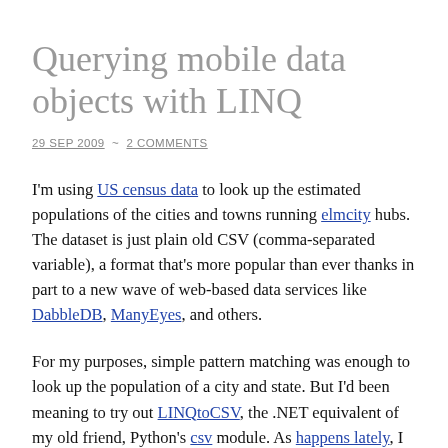Querying mobile data objects with LINQ
29 SEP 2009 ~ 2 COMMENTS
I'm using US census data to look up the estimated populations of the cities and towns running elmcity hubs. The dataset is just plain old CSV (comma-separated variable), a format that's more popular than ever thanks in part to a new wave of web-based data services like DabbleDB, ManyEyes, and others.
For my purposes, simple pattern matching was enough to look up the population of a city and state. But I'd been meaning to try out LINQtoCSV, the .NET equivalent of my old friend, Python's csv module. As happens lately, I was struck by the commonness of the languages. Here's a side